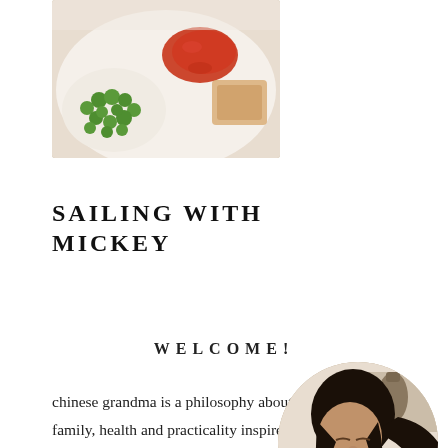[Figure (photo): Food photo showing a white plate with green peas, red sauce/jam, and other food items on a light background]
SAILING WITH MICKEY
WELCOME!
chinese grandma is a philosophy about food, family, health and practicality inspired by old-school grandmas everywhere. It's about cooking good food, living a good
[Figure (photo): Circular portrait photo of a smiling woman with long dark hair in a kitchen setting]